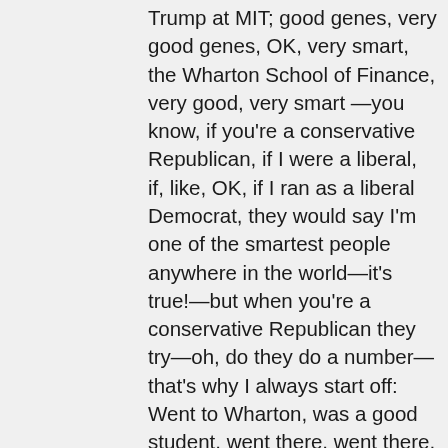Trump at MIT; good genes, very good genes, OK, very smart, the Wharton School of Finance, very good, very smart —you know, if you're a conservative Republican, if I were a liberal, if, like, OK, if I ran as a liberal Democrat, they would say I'm one of the smartest people anywhere in the world—it's true!—but when you're a conservative Republican they try—oh, do they do a number—that's why I always start off: Went to Wharton, was a good student, went there, went there, did this, built a fortune—you know I have to give my like credentials all the time, because we're a little disadvantaged—but you look at the nuclear deal, the thing that really bothers me—it would have been so easy, and it's not as important as these lives are (nuclear is powerful; my uncle explained that to me many, many years ago, the power and that was 35 years ago; he would explain the power of what's going to happen and he was right—who